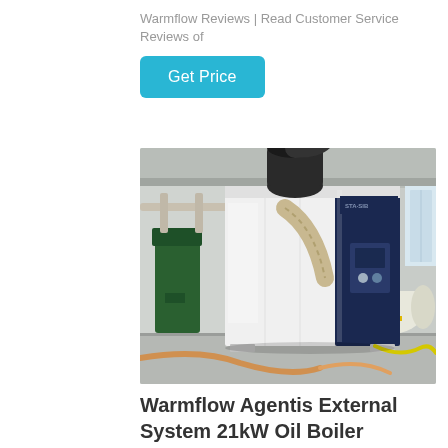Warmflow Reviews | Read Customer Service Reviews of
Get Price
[Figure (photo): Industrial boiler unit - Warmflow Agentis External System 21kW Oil Boiler in a factory/warehouse setting. Large white and navy blue rectangular boiler unit with pipes and hoses visible, industrial equipment in background.]
Warmflow Agentis External System 21kW Oil Boiler